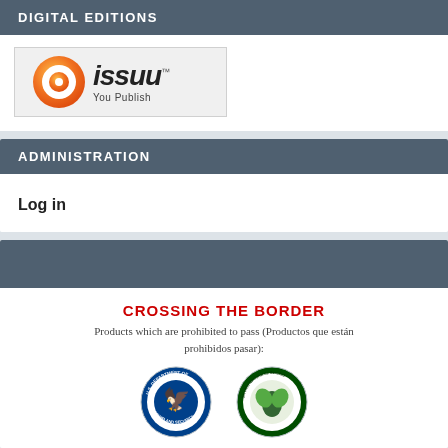DIGITAL EDITIONS
[Figure (logo): Issuu logo with orange circular icon and 'issuu You Publish' text on a light gray background]
ADMINISTRATION
Log in
CROSSING THE BORDER
Products which are prohibited to pass (Productos que están prohibidos pasar):
[Figure (logo): Two government agency seals: U.S. Department of Homeland Security seal and Servicio Nacional de Sanidad seal]